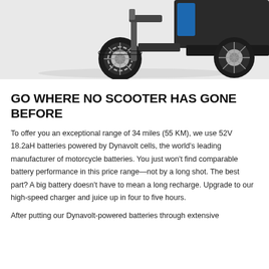[Figure (photo): Partial view of an electric scooter wheel and undercarriage on a light gray background]
GO WHERE NO SCOOTER HAS GONE BEFORE
To offer you an exceptional range of 34 miles (55 KM), we use 52V 18.2aH batteries powered by Dynavolt cells, the world's leading manufacturer of motorcycle batteries. You just won't find comparable battery performance in this price range—not by a long shot. The best part? A big battery doesn't have to mean a long recharge. Upgrade to our high-speed charger and juice up in four to five hours.
After putting our Dynavolt-powered batteries through extensive